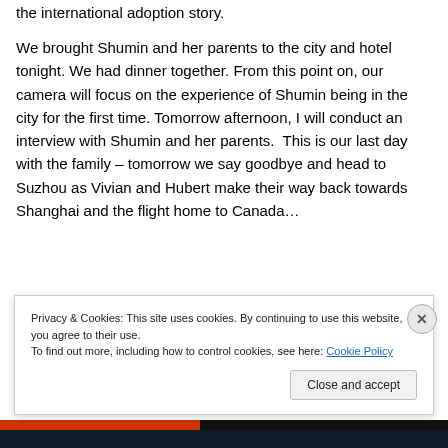the international adoption story.
We brought Shumin and her parents to the city and hotel tonight. We had dinner together. From this point on, our camera will focus on the experience of Shumin being in the city for the first time. Tomorrow afternoon, I will conduct an interview with Shumin and her parents.  This is our last day with the family – tomorrow we say goodbye and head to Suzhou as Vivian and Hubert make their way back towards Shanghai and the flight home to Canada…
[Figure (photo): Dark background image with a pink/red bar element and a light circle element, partially visible]
Privacy & Cookies: This site uses cookies. By continuing to use this website, you agree to their use.
To find out more, including how to control cookies, see here: Cookie Policy
Close and accept